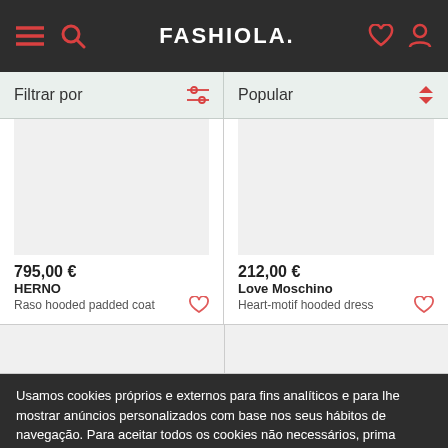FASHIOLA.
Filtrar por
Popular
795,00 €
HERNO
Raso hooded padded coat
212,00 €
Love Moschino
Heart-motif hooded dress
Usamos cookies próprios e externos para fins analíticos e para lhe mostrar anúncios personalizados com base nos seus hábitos de navegação. Para aceitar todos os cookies não necessários, prima "Aceitar". Para rejeitá-los, basta não selecionar esta opção.
Saiba mais
Aceitar